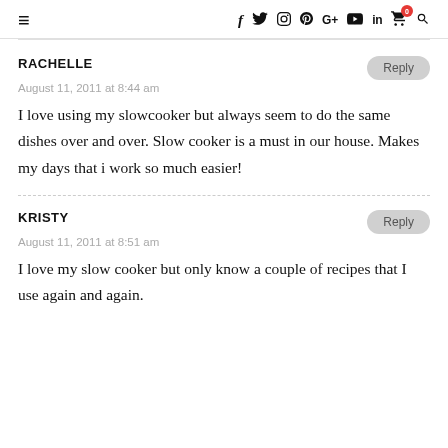≡  f  Twitter  Instagram  Pinterest  G+  YouTube  in  [cart:0]  Search
RACHELLE
August 11, 2011 at 8:44 am
I love using my slowcooker but always seem to do the same dishes over and over. Slow cooker is a must in our house. Makes my days that i work so much easier!
KRISTY
August 11, 2011 at 8:51 am
I love my slow cooker but only know a couple of recipes that I use again and again.